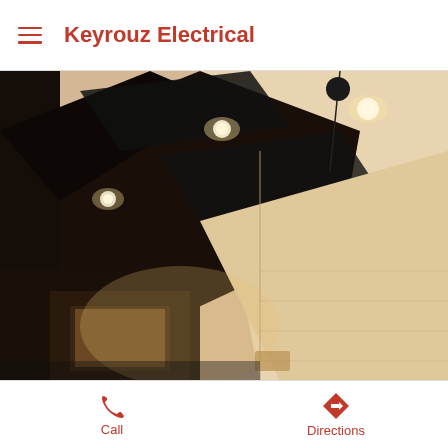Keyrouz Electrical
[Figure (photo): Interior ceiling photograph showing recessed lighting fixtures set into dark geometric ceiling panels against a cream/warm-toned ceiling, with cabinetry visible in the background]
This site uses cookies from Google.
Learn more
Call  Directions